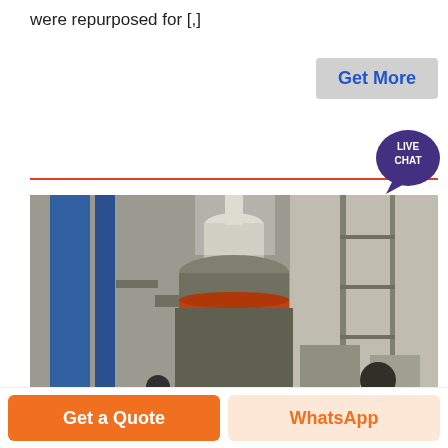were repurposed for [,]
[Figure (other): Button labeled 'Get More' with gray background and blue bold text]
[Figure (other): Live chat speech bubble icon in dark purple with white text 'LIVE CHAT']
[Figure (photo): Industrial grinding mill machine in a factory setting with two workers. Large cylindrical vertical mill with orange/red ring bands, blue pipes on left, scaffolding, and industrial equipment in background.]
[Figure (other): Orange 'Get a Quote' button on the left and a light orange 'WhatsApp' button on the right at the bottom of the page]